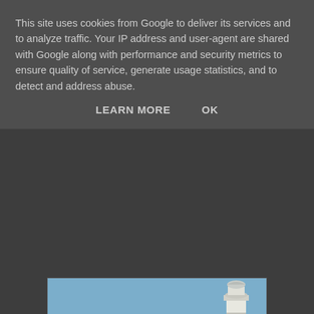This site uses cookies from Google to deliver its services and to analyze traffic. Your IP address and user-agent are shared with Google along with performance and security metrics to ensure quality of service, generate usage statistics, and to detect and address abuse.
LEARN MORE    OK
[Figure (photo): Photograph of a harbor pier/breakwater with a white lighthouse at the far end. A metal railing runs along the left side of the stone walkway. The sea is visible on the left. Blue sky in the background.]
Looking towards the Eastern end
[Figure (photo): Partial view of a second photograph showing blue sky, partially cropped at the bottom of the page.]